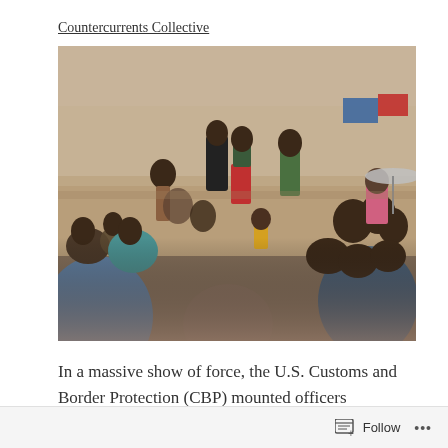Countercurrents Collective
[Figure (photo): A large group of migrants, including many Haitian migrants, gathered on a sandy riverbank. A young child stands in the center wearing yellow shorts. Adults sit and stand around in various states of rest and movement. Colorful clothing is visible throughout the crowd. The scene is crowded and takes place in daylight under bright sun.]
In a massive show of force, the U.S. Customs and Border Protection (CBP) mounted officers attempted to contain migrants as they crossed the Rio Grande from Ciudad Acuña, Mexico,
Follow ...